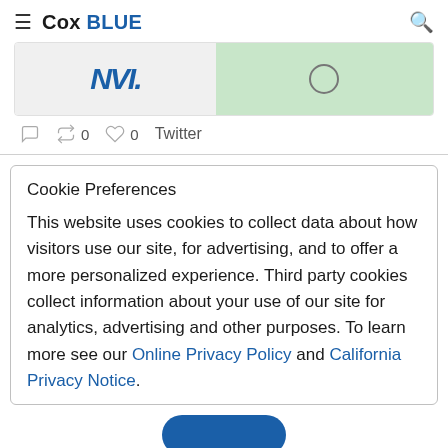Cox BLUE
[Figure (screenshot): Partial tweet image showing AVN logo on left and a green section with a circle icon on right]
0  0  Twitter
Cookie Preferences
This website uses cookies to collect data about how visitors use our site, for advertising, and to offer a more personalized experience. Third party cookies collect information about your use of our site for analytics, advertising and other purposes. To learn more see our Online Privacy Policy and California Privacy Notice.